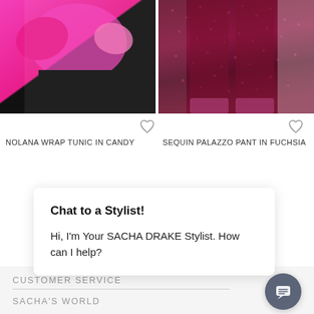[Figure (photo): Pink/hot pink satin wrap tunic top with draped sleeves, worn over black skirt, against white background]
[Figure (photo): Dark fuchsia/maroon sequin palazzo pants with strappy heels, outdoor setting]
NOLANA WRAP TUNIC IN CANDY
SEQUIN PALAZZO PANT IN FUCHSIA
$299.00
$349.00
Chat to a Stylist!
Hi, I'm Your SACHA DRAKE Stylist. How can I help?
CUSTOMER SERVICE
SACHA'S WORLD